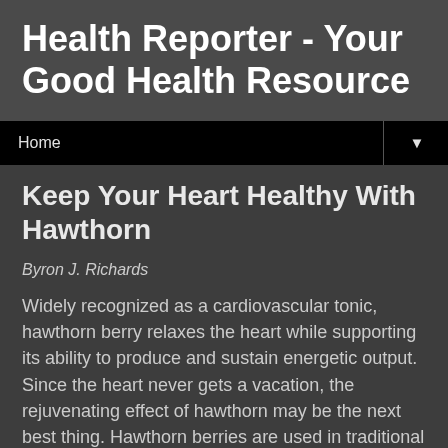Health Reporter - Your Good Health Resource
Home
Keep Your Heart Healthy With Hawthorn
Byron J. Richards
Widely recognized as a cardiovascular tonic, hawthorn berry relaxes the heart while supporting its ability to produce and sustain energetic output. Since the heart never gets a vacation, the rejuvenating effect of hawthorn may be the next best thing. Hawthorn berries are used in traditional medicine in the treatment of chronic heart failure, high blood pressure, irregular heart beat, and digestive problems. They also have